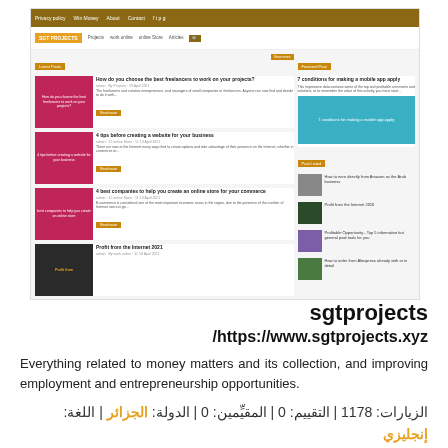[Figure (screenshot): Screenshot of sgtprojects.xyz website showing a blog-style layout with navigation bar, featured articles with pink/dark thumbnails, and sidebar with featured post and recent posts. Articles include topics about freelancers, websites, online stores, and internet profits.]
sgtprojects
/https://www.sgtprojects.xyz
Everything related to money matters and its collection, and improving employment and entrepreneurship opportunities.
الزيارات: 1178 | التقييم: 0 | المقيِّمين: 0 | الدولة: الجزائر | اللغة: إنجليزي